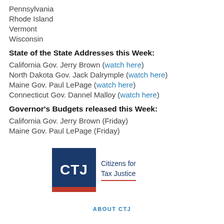Pennsylvania
Rhode Island
Vermont
Wisconsin
State of the State Addresses this Week:
California Gov. Jerry Brown (watch here)
North Dakota Gov. Jack Dalrymple (watch here)
Maine Gov. Paul LePage (watch here)
Connecticut Gov. Dannel Malloy (watch here)
Governor’s Budgets released this Week:
California Gov. Jerry Brown (Friday)
Maine Gov. Paul LePage (Friday)
[Figure (logo): CTJ Citizens for Tax Justice logo with dark blue box and red underline]
ABOUT CTJ